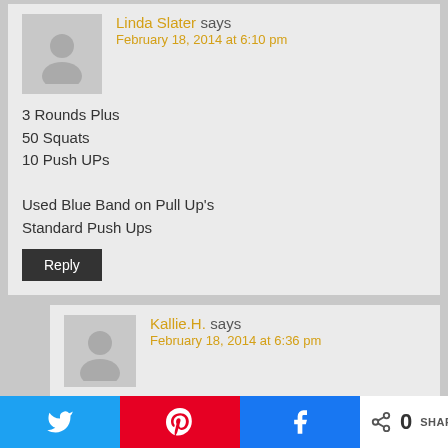Linda Slater says
February 18, 2014 at 6:10 pm
3 Rounds Plus
50 Squats
10 Push UPs

Used Blue Band on Pull Up's
Standard Push Ups
Reply
Kallie.H. says
February 18, 2014 at 6:36 pm
2 rounds plus 25 pushups.

Wow I felt like a lead weight today. I blame cramps
0 SHARES